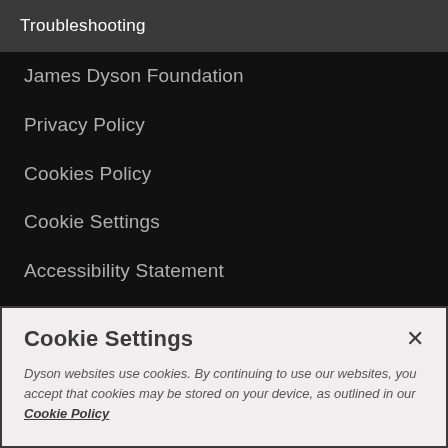Troubleshooting
James Dyson Foundation
Privacy Policy
Cookies Policy
Cookie Settings
Accessibility Statement
Terms & Conditions
Order status
Financing
Cookie Settings
Dyson websites use cookies. By continuing to use our websites, you accept that cookies may be stored on your device, as outlined in our Cookie Policy